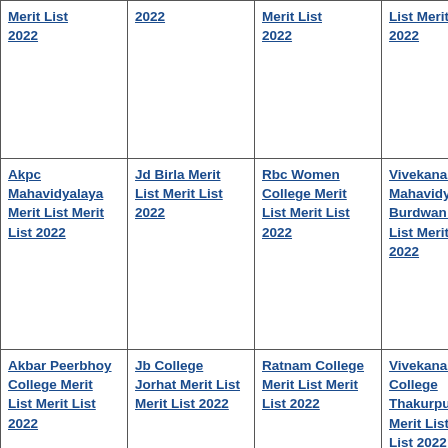| Merit List 2022 | 2022 | Merit List 2022 | List Merit List 2022 |
| Akpc Mahavidyalaya Merit List Merit List 2022 | Jd Birla Merit List Merit List 2022 | Rbc Women College Merit List Merit List 2022 | Vivekananda Mahavidyalaya Burdwan Merit List Merit List 2022 |
| Akbar Peerbhoy College Merit List Merit List 2022 | Jb College Jorhat Merit List Merit List 2022 | Ratnam College Merit List Merit List 2022 | Vivekananda College Thakurpukur Merit List Merit List 2022 |